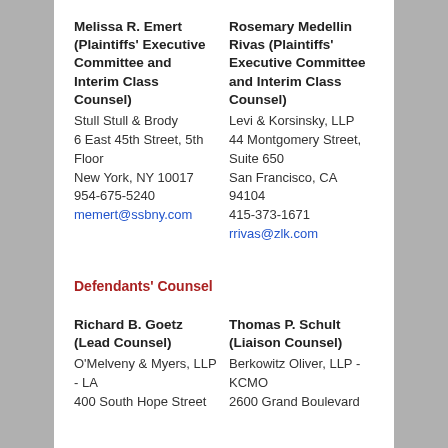Melissa R. Emert (Plaintiffs' Executive Committee and Interim Class Counsel)
Stull Stull & Brody
6 East 45th Street, 5th Floor
New York, NY 10017
954-675-5240
memert@ssbny.com
Rosemary Medellin Rivas (Plaintiffs' Executive Committee and Interim Class Counsel)
Levi & Korsinsky, LLP
44 Montgomery Street, Suite 650
San Francisco, CA 94104
415-373-1671
rrivas@zlk.com
Defendants' Counsel
Richard B. Goetz (Lead Counsel)
O'Melveny & Myers, LLP - LA
400 South Hope Street
Thomas P. Schult (Liaison Counsel)
Berkowitz Oliver, LLP - KCMO
2600 Grand Boulevard